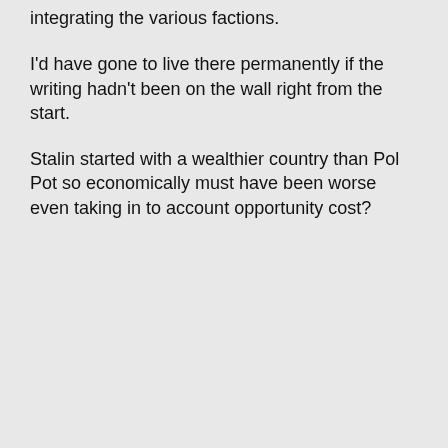integrating the various factions.
I'd have gone to live there permanently if the writing hadn't been on the wall right from the start.
Stalin started with a wealthier country than Pol Pot so economically must have been worse even taking in to account opportunity cost?